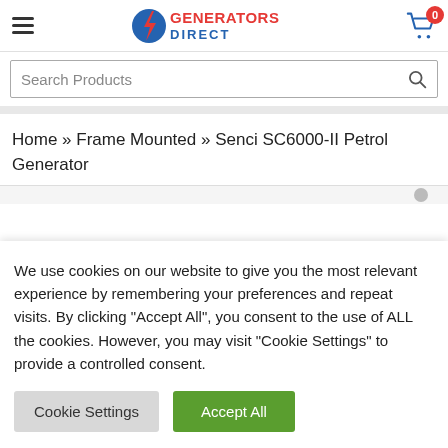[Figure (logo): Generators Direct logo with hamburger menu icon on the left and shopping cart with badge '0' on the right]
Search Products
Home » Frame Mounted » Senci SC6000-II Petrol Generator
We use cookies on our website to give you the most relevant experience by remembering your preferences and repeat visits. By clicking “Accept All”, you consent to the use of ALL the cookies. However, you may visit "Cookie Settings" to provide a controlled consent.
Cookie Settings
Accept All